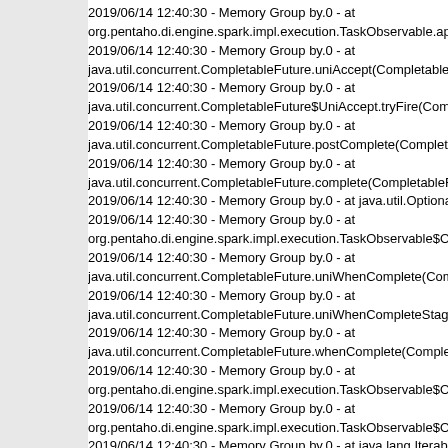2019/06/14 12:40:30 - Memory Group by.0 - at org.pentaho.di.engine.spark.impl.execution.TaskObservable.applyC
2019/06/14 12:40:30 - Memory Group by.0 - at java.util.concurrent.CompletableFuture.uniAccept(CompletableFutu
2019/06/14 12:40:30 - Memory Group by.0 - at java.util.concurrent.CompletableFuture$UniAccept.tryFire(Complet
2019/06/14 12:40:30 - Memory Group by.0 - at java.util.concurrent.CompletableFuture.postComplete(Completable
2019/06/14 12:40:30 - Memory Group by.0 - at java.util.concurrent.CompletableFuture.complete(CompletableFutu
2019/06/14 12:40:30 - Memory Group by.0 - at java.util.Optional.ifP
2019/06/14 12:40:30 - Memory Group by.0 - at org.pentaho.di.engine.spark.impl.execution.TaskObservable$Opera
2019/06/14 12:40:30 - Memory Group by.0 - at java.util.concurrent.CompletableFuture.uniWhenComplete(Comple
2019/06/14 12:40:30 - Memory Group by.0 - at java.util.concurrent.CompletableFuture.uniWhenCompleteStage(Co
2019/06/14 12:40:30 - Memory Group by.0 - at java.util.concurrent.CompletableFuture.whenComplete(Completabl
2019/06/14 12:40:30 - Memory Group by.0 - at org.pentaho.di.engine.spark.impl.execution.TaskObservable$Opera
2019/06/14 12:40:30 - Memory Group by.0 - at org.pentaho.di.engine.spark.impl.execution.TaskObservable$Opera
2019/06/14 12:40:30 - Memory Group by.0 - at java.lang.Iterable.fo
2019/06/14 12:40:30 - Memory Group by.0 - at org.pentaho.di.engine.spark.impl.execution.TaskObservable$Opera
2019/06/14 12:40:30 - Memory Group by.0 - at org.pentaho.di.engine.spark.impl.ops.GenericSparkOperation.appl